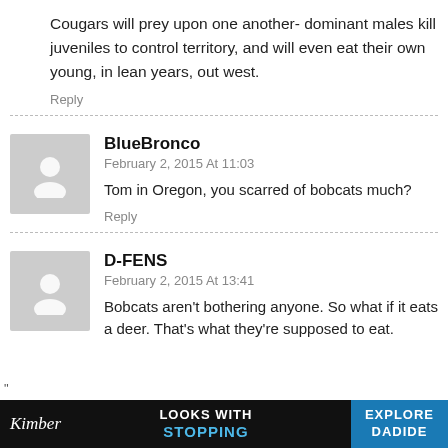Cougars will prey upon one another- dominant males kill juveniles to control territory, and will even eat their own young, in lean years, out west.
Reply
BlueBronco
February 2, 2015 At 11:03
Tom in Oregon, you scarred of bobcats much?
Reply
D-FENS
February 2, 2015 At 13:41
Bobcats aren't bothering anyone. So what if it eats a deer. That's what they're supposed to eat.
[Figure (photo): Advertisement banner showing 'LOOKS WITH STOPPING' text with a firearm image and 'EXPLORE' button on blue background, with Kimber brand logo on dark background.]